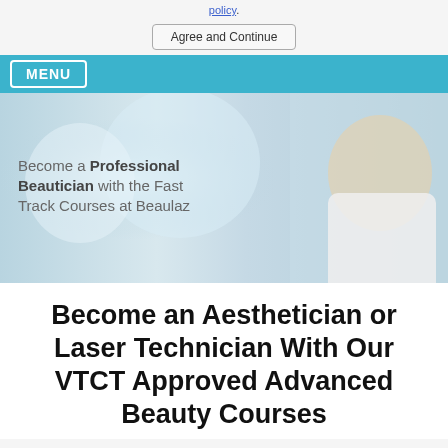policy.
Agree and Continue
[Figure (screenshot): Website navigation bar with teal/blue background and white-bordered MENU button on the left]
[Figure (photo): Hero banner image showing a smiling blonde woman in a white coat with arms crossed, set against a blurred salon/beauty background. Text overlay reads: Become a Professional Beautician with the Fast Track Courses at Beaulaz]
Become an Aesthetician or Laser Technician With Our VTCT Approved Advanced Beauty Courses